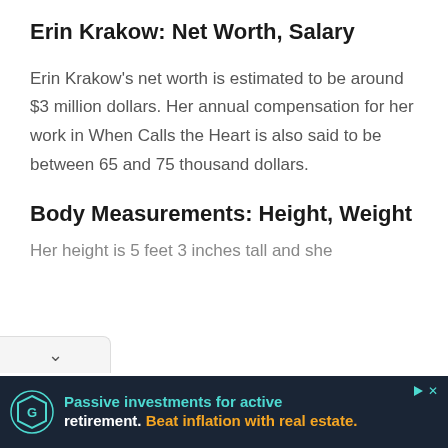Erin Krakow: Net Worth, Salary
Erin Krakow’s net worth is estimated to be around $3 million dollars. Her annual compensation for her work in When Calls the Heart is also said to be between 65 and 75 thousand dollars.
Body Measurements: Height, Weight
Her height is 5 feet 3 inches tall and she
[Figure (other): Advertisement banner: dark navy background with a circular logo (hexagonal shield icon in teal outline), text reading 'Passive investments for active retirement. Beat inflation with real estate.' in teal and orange bold text. Small play/arrow icon and X in top right corner.]